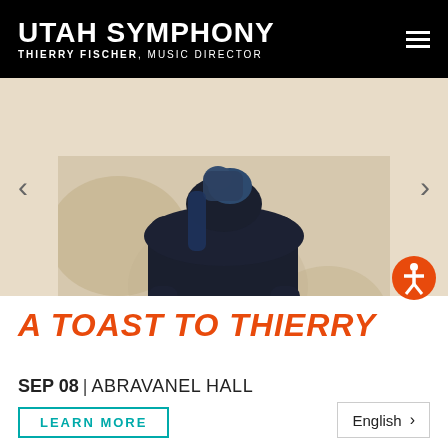UTAH SYMPHONY
THIERRY FISCHER, MUSIC DIRECTOR
[Figure (photo): A person seen from behind wearing a dark navy jacket with a blue scarf tied around their neck. The background is blurred beige/tan tones.]
A TOAST TO THIERRY
SEP 08 | ABRAVANEL HALL
LEARN MORE
English